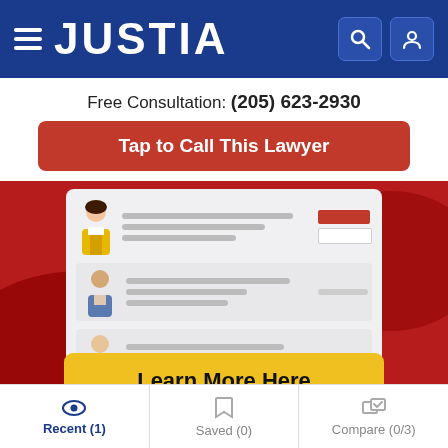JUSTIA
Free Consultation: (205) 623-2930
Tap to Call This Lawyer
[Figure (illustration): Justia promotional banner with red background showing a laptop screen with lawyer profile listings and a yellow 'Learn More Here' button]
SPONSORED LISTINGS
Recent (1)  Saved (0)  Compare (0/3)